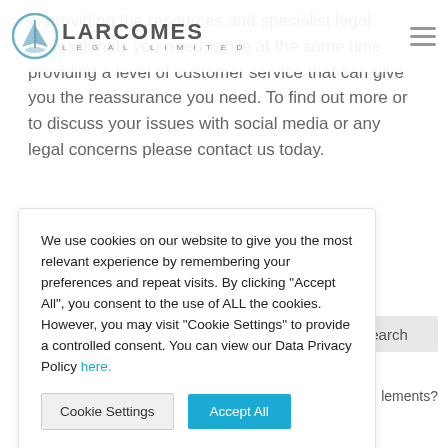[Figure (logo): Larcomes Legal Limited logo with circular icon and text]
in providing the resources and specialist legal professionals you need, while at the same time providing a level of customer service that can give you the reassurance you need. To find out more or to discuss your issues with social media or any legal concerns please contact us today.
We use cookies on our website to give you the most relevant experience by remembering your preferences and repeat visits. By clicking “Accept All”, you consent to the use of ALL the cookies. However, you may visit "Cookie Settings" to provide a controlled consent. You can view our Data Privacy Policy here.
Cookie Settings
Accept All
lements?
A Guide on the Process of Renting a Commercial